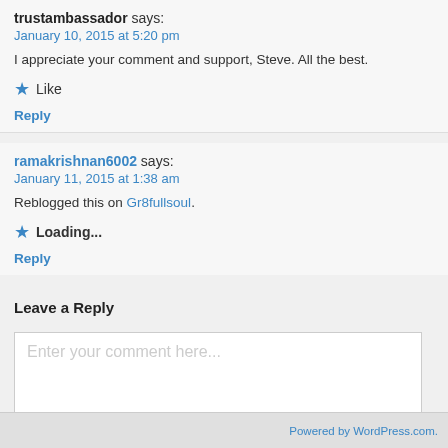trustambassador says:
January 10, 2015 at 5:20 pm
I appreciate your comment and support, Steve. All the best.
Like
Reply
ramakrishnan6002 says:
January 11, 2015 at 1:38 am
Reblogged this on Gr8fullsoul.
Loading...
Reply
Leave a Reply
Enter your comment here...
Powered by WordPress.com.